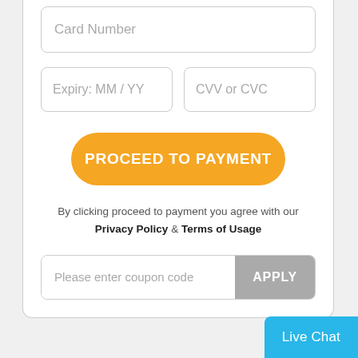[Figure (screenshot): Payment form UI with card number field, expiry and CVV fields, proceed to payment button, privacy policy text, coupon code input, apply button, and live chat button]
Card Number
Expiry: MM / YY
CVV or CVC
PROCEED TO PAYMENT
By clicking proceed to payment you agree with our Privacy Policy & Terms of Usage
Please enter coupon code
APPLY
Live Chat